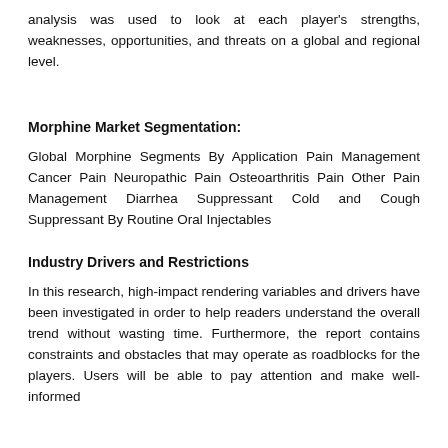analysis was used to look at each player's strengths, weaknesses, opportunities, and threats on a global and regional level.
Morphine Market Segmentation:
Global Morphine Segments By Application Pain Management Cancer Pain Neuropathic Pain Osteoarthritis Pain Other Pain Management Diarrhea Suppressant Cold and Cough Suppressant By Routine Oral Injectables
Industry Drivers and Restrictions
In this research, high-impact rendering variables and drivers have been investigated in order to help readers understand the overall trend without wasting time. Furthermore, the report contains constraints and obstacles that may operate as roadblocks for the players. Users will be able to pay attention and make well-informed